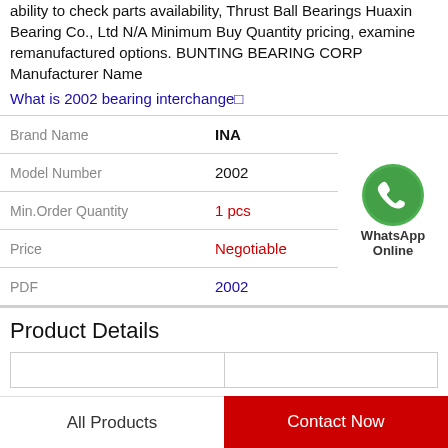ability to check parts availability, Thrust Ball Bearings Huaxin Bearing Co., Ltd N/A Minimum Buy Quantity pricing, examine remanufactured options. BUNTING BEARING CORP Manufacturer Name
What is 2002 bearing interchange□
| Brand Name | INA |
| Model Number | 2002 |
| Min.Order Quantity | 1 pcs |
| Price | Negotiable |
| PDF | 2002 |
Product Details
|   |   |
All Products   Contact Now